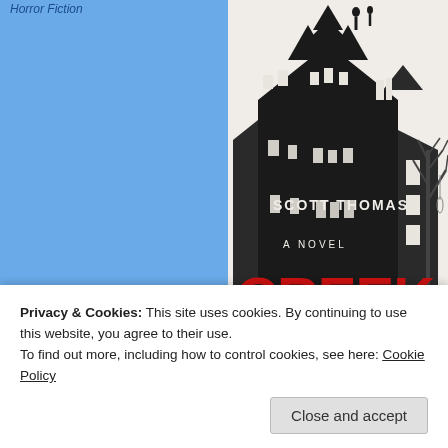Horror Fiction
[Figure (illustration): Book cover for 'Creek' by Scott Thomas. A dark, gothic illustration of a large haunted-looking house in black ink with silhouettes of two figures on the roof. A bare tree stands to the right. Text reads 'SCOTT THOMAS', 'A NOVEL', and 'CREEK' in large red letters at the bottom.]
Privacy & Cookies: This site uses cookies. By continuing to use this website, you agree to their use.
To find out more, including how to control cookies, see here: Cookie Policy
Close and accept